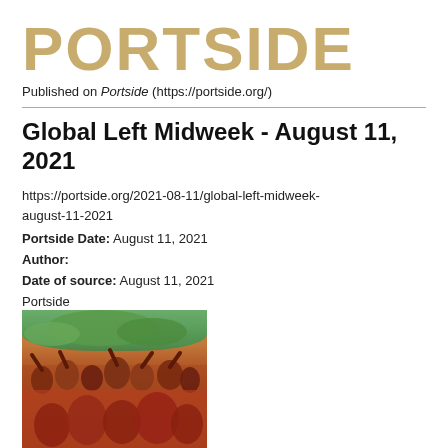PORTSIDE
Published on Portside (https://portside.org/)
Global Left Midweek - August 11, 2021
https://portside.org/2021-08-11/global-left-midweek-august-11-2021
Portside Date: August 11, 2021
Author:
Date of source: August 11, 2021
Portside
[Figure (photo): A group of people, mostly wearing red shirts, raising their fists in a celebratory or protest manner, outdoors with trees in the background.]